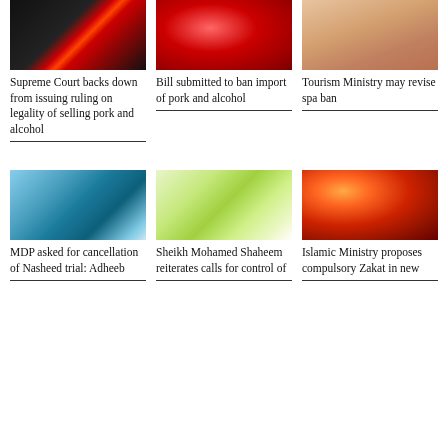[Figure (photo): Red lines/streaks on dark background]
[Figure (photo): Close-up of red fruit with water droplets]
[Figure (photo): Peach/skin toned smooth surface]
Supreme Court backs down from issuing ruling on legality of selling pork and alcohol
Bill submitted to ban import of pork and alcohol
Tourism Ministry may revise spa ban
[Figure (photo): Blue abstract wave background]
[Figure (photo): Green and white abstract wave background]
[Figure (photo): Close-up of red apple with water droplets]
MDP asked for cancellation of Nasheed trial: Adheeb
Sheikh Mohamed Shaheem reiterates calls for control of
Islamic Ministry proposes compulsory Zakat in new